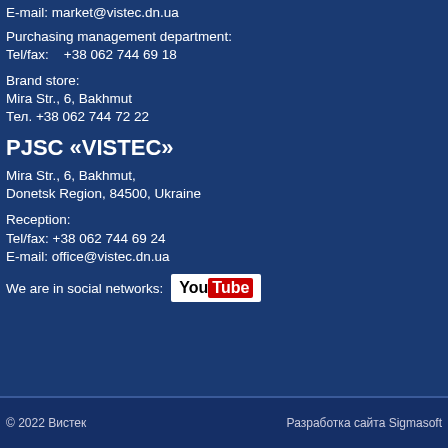E-mail: market@vistec.dn.ua
Purchasing management department:
Tel/fax:    +38 062 744 69 18
Brand store:
Mira Str., 6, Bakhmut
Тел. +38 062 744 72 22
PJSC «VISTEC»
Mira Str., 6, Bakhmut,
Donetsk Region, 84500, Ukraine
Reception:
Tel/fax: +38 062 744 69 24
E-mail: office@vistec.dn.ua
We are in social networks:
[Figure (logo): YouTube logo badge with white background]
© 2022 Вистек    Разработка сайта Sigmasoft